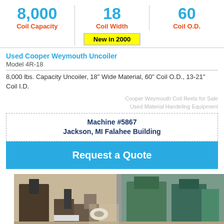8,000 Coil Capacity | 18 Coil Width | 60 Coil O.D.
New in 2000
Used Cooper Weymouth Uncoiler
Model 4R-18
8,000 lbs. Capacity Uncoiler, 18" Wide Material, 60" Coil O.D., 13-21" Coil I.D.
Cooper Weymouth Coil Reels for Sale
Used Material Handeling Equipment
Machine #5867
Jackson, MI Falahee Building
Request a Quote
[Figure (photo): Industrial machinery - Cooper Weymouth Uncoiler in a warehouse/factory setting]